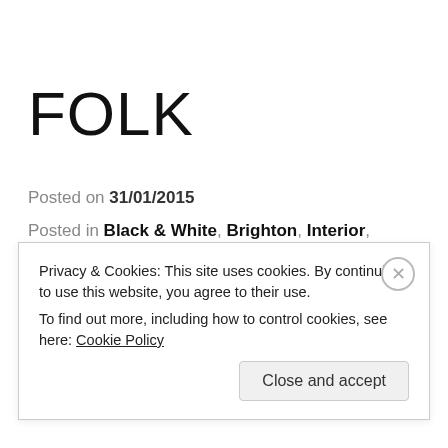FOLK
Posted on 31/01/2015
Posted in Black & White, Brighton, Interior, Music, People, Pets
Tagged Black & White, Brighton, dog, Folk, Lex, Live
Privacy & Cookies: This site uses cookies. By continuing to use this website, you agree to their use.
To find out more, including how to control cookies, see here: Cookie Policy
Close and accept